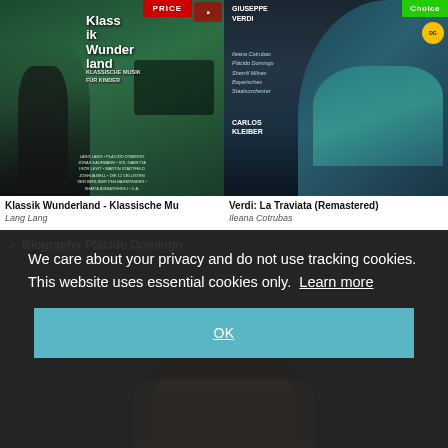[Figure (photo): Album cover: Klassik Wunderland - Klassische Musik für Kinder, green themed with performers including Lang Lang and Plácido Domingo, with red PRICE badge top right]
[Figure (photo): Album cover: Verdi La Traviata Remastered, featuring woman in teal dress (Ileana Cotrubas), performers listed: Plácido Domingo, Sherrill Milnes, Bayerisches Staatsorchester, conducted by Carlos Kleiber, with green Choice badge]
Klassik Wunderland - Klassische Mu
Lang Lang
Verdi: La Traviata (Remastered)
Ileana Cotrubas
Biography Plácido Domingo
We care about your privacy and do not use tracking cookies. This website uses essential cookies only.  Learn more
OK
[Figure (photo): Partial photo of a man's face (Plácido Domingo) visible behind the privacy overlay]